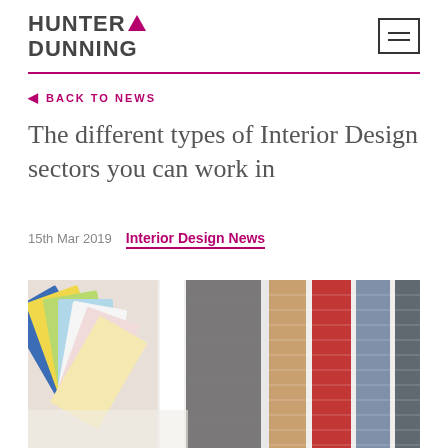[Figure (logo): Hunter Dunning logo with dark grey bold text and purple/magenta triangle arrow accent]
◄ BACK TO NEWS
The different types of Interior Design sectors you can work in
15th Mar 2019   Interior Design News
[Figure (photo): Photo of fabric/textile colour swatches fanned out on a white surface, showing various colours including yellow, green, grey, red, blue and beige tones]